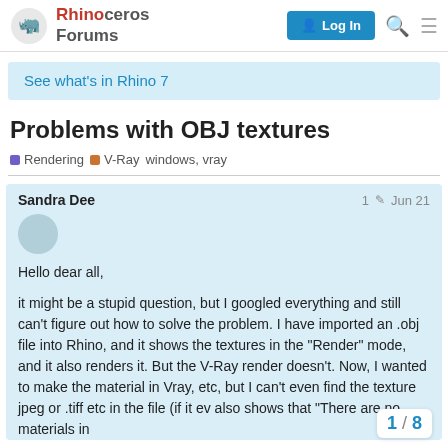Rhinoceros Forums | Log In
See what's in Rhino 7
Problems with OBJ textures
Rendering  V-Ray  windows, vray
Sandra Dee  1  Jun 21
Hello dear all,

it might be a stupid question, but I googled everything and still can't figure out how to solve the problem. I have imported an .obj file into Rhino, and it shows the textures in the “Render” mode, and it also renders it. But the V-Ray render doesn't. Now, I wanted to make the material in Vray, etc, but I can't even find the texture jpeg or .tiff etc in the file (if it ev also shows that “There are no materials in
1 / 8